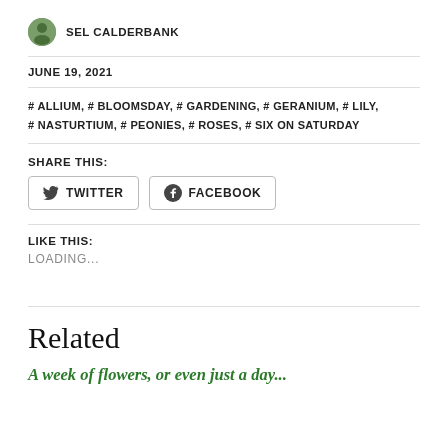SEL CALDERBANK
JUNE 19, 2021
# ALLIUM, # BLOOMSDAY, # GARDENING, # GERANIUM, # LILY, # NASTURTIUM, # PEONIES, # ROSES, # SIX ON SATURDAY
SHARE THIS:
TWITTER  FACEBOOK
LIKE THIS:
LOADING...
Related
A week of flowers, or even just a day...